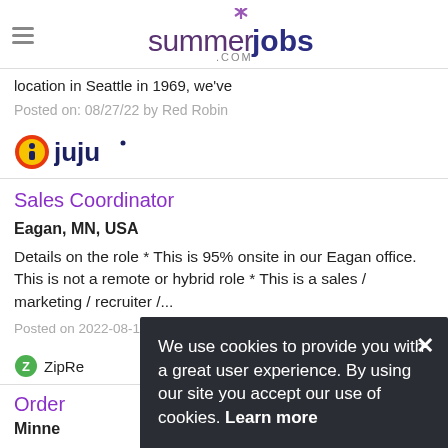[Figure (logo): summerjobs.com logo with hamburger menu icon on the left]
location in Seattle in 1969, we've
Posted on: 08/27/22 by Red Robin
[Figure (logo): Juju job search logo]
Sales Coordinator
Eagan, MN, USA
Details on the role * This is 95% onsite in our Eagan office. This is not a remote or hybrid role * This is a sales / marketing / recruiter /...
Posted on 2022-08-11T23:33:32Z by C4 Technical Services
[Figure (logo): ZipRecruiter logo (partially visible)]
Order
Minne
We use cookies to provide you with a great user experience. By using our site you accept our use of cookies. Learn more